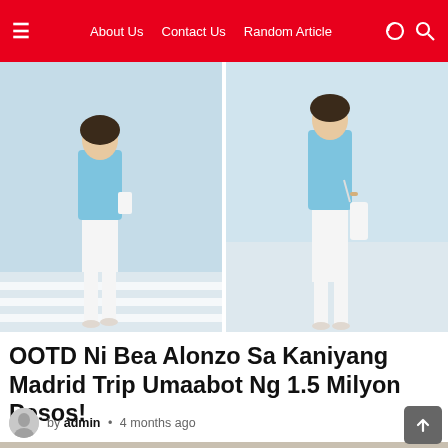☰  About Us  Contact Us  Random Article
[Figure (photo): Two photos side by side of a woman wearing a light blue blazer and white outfit walking on a street crosswalk and standing outdoors]
OOTD Ni Bea Alonzo Sa Kaniyang Madrid Trip Umaabot Ng 1.5 Milyon Pesos!
by admin • 4 months ago
[Figure (photo): Three photos side by side of a pregnant woman with long dark hair wearing a beige/cream maternity dress against a light background]